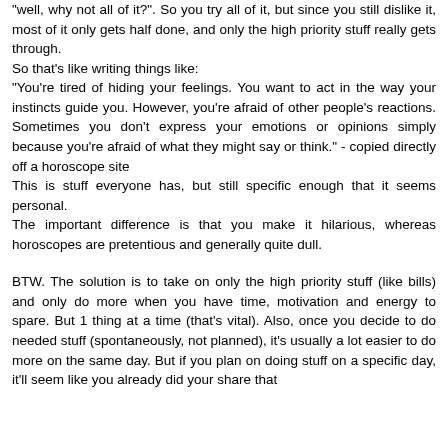"well, why not all of it?". So you try all of it, but since you still dislike it, most of it only gets half done, and only the high priority stuff really gets through.
So that's like writing things like:
"You're tired of hiding your feelings. You want to act in the way your instincts guide you. However, you're afraid of other people's reactions. Sometimes you don't express your emotions or opinions simply because you're afraid of what they might say or think." - copied directly off a horoscope site
This is stuff everyone has, but still specific enough that it seems personal.
The important difference is that you make it hilarious, whereas horoscopes are pretentious and generally quite dull.
BTW. The solution is to take on only the high priority stuff (like bills) and only do more when you have time, motivation and energy to spare. But 1 thing at a time (that's vital). Also, once you decide to do needed stuff (spontaneously, not planned), it's usually a lot easier to do more on the same day. But if you plan on doing stuff on a specific day, it'll seem like you already did your share that